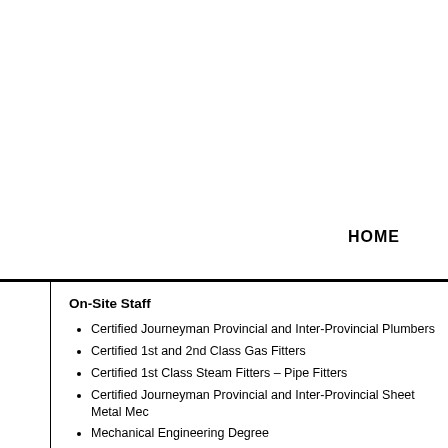HOME
On-Site Staff
Certified Journeyman Provincial and Inter-Provincial Plumbers
Certified 1st and 2nd Class Gas Fitters
Certified 1st Class Steam Fitters – Pipe Fitters
Certified Journeyman Provincial and Inter-Provincial Sheet Metal Mec
Mechanical Engineering Degree
Certified Training Programs